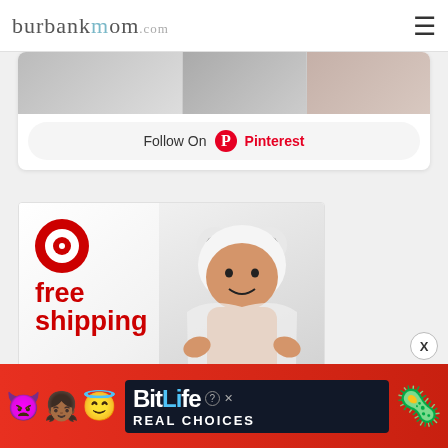burbankmom.com
[Figure (screenshot): Pinterest photo strip showing lifestyle images of people and interiors]
Follow On Pinterest
[Figure (illustration): Target advertisement: Target bullseye logo, 'free shipping on orders $35 or more*', 'shop baby', with baby wearing panda hooded towel]
[Figure (advertisement): BitLife mobile game advertisement with emojis and text 'REAL CHOICES' on dark background]